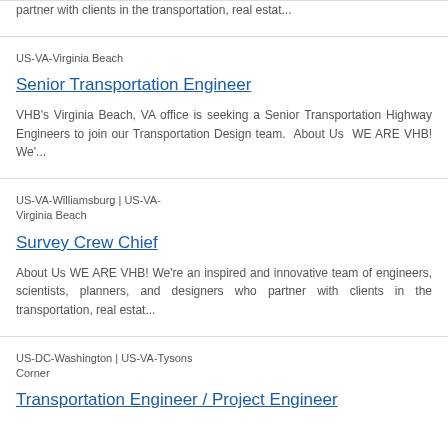partner with clients in the transportation, real estat...
US-VA-Virginia Beach
Senior Transportation Engineer
VHB's Virginia Beach, VA office is seeking a Senior Transportation Highway Engineers to join our Transportation Design team. About Us WE ARE VHB! We'...
US-VA-Williamsburg | US-VA-Virginia Beach
Survey Crew Chief
About Us WE ARE VHB! We're an inspired and innovative team of engineers, scientists, planners, and designers who partner with clients in the transportation, real estat...
US-DC-Washington | US-VA-Tysons Corner
Transportation Engineer / Project Engineer